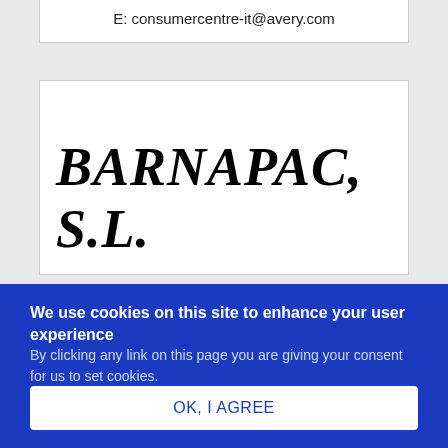E: consumercentre-it@avery.com
[Figure (logo): BARNAPAC, S.L. company logo in bold italic cursive font]
We use cookies on this site to enhance your user experience
By clicking any link on this page you are giving your consent for us to set cookies.
OK, I AGREE